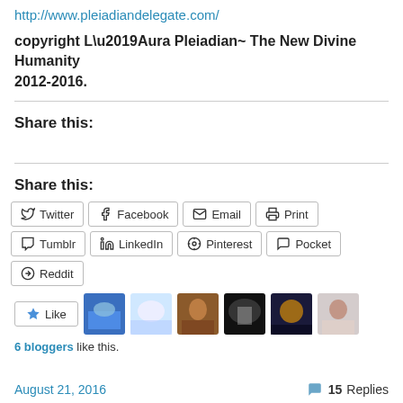http://www.pleiadiandelegate.com/
copyright L’Aura Pleiadian~ The New Divine Humanity 2012-2016.
Share this:
Share this:
Twitter, Facebook, Email, Print, Tumblr, LinkedIn, Pinterest, Pocket, Reddit
6 bloggers like this.
August 21, 2016 | 15 Replies